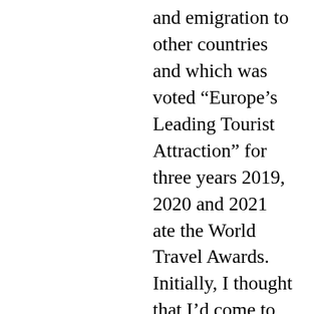and emigration to other countries and which was voted “Europe’s Leading Tourist Attraction” for three years 2019, 2020 and 2021 ate the World Travel Awards.  Initially, I thought that I’d come to some cheap sound and light show but as we walked through it, it struck me that it is really a very slick history of Irish emigrants and their contribution to Western culture.  A lot of thought went into this show and it made me think that Ireland has finally come to terms with its history.